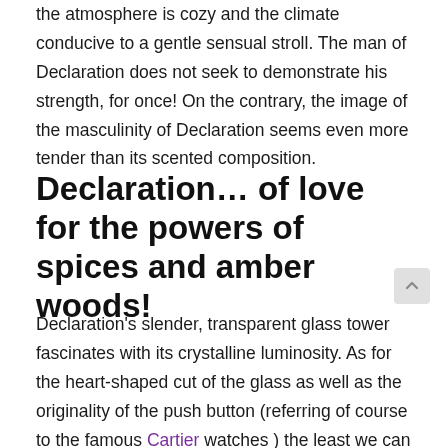the atmosphere is cozy and the climate conducive to a gentle sensual stroll. The man of Declaration does not seek to demonstrate his strength, for once! On the contrary, the image of the masculinity of Declaration seems even more tender than its scented composition.
Declaration… of love for the powers of spices and amber woods!
Declaration's slender, transparent glass tower fascinates with its crystalline luminosity. As for the heart-shaped cut of the glass as well as the originality of the push button (referring of course to the famous Cartier watches ) the least we can say